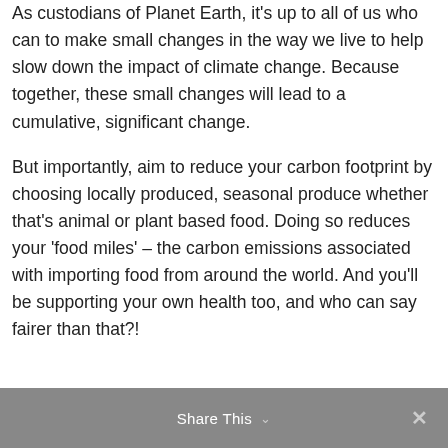As custodians of Planet Earth, it's up to all of us who can to make small changes in the way we live to help slow down the impact of climate change. Because together, these small changes will lead to a cumulative, significant change.
But importantly, aim to reduce your carbon footprint by choosing locally produced, seasonal produce whether that's animal or plant based food. Doing so reduces your 'food miles' – the carbon emissions associated with importing food from around the world. And you'll be supporting your own health too, and who can say fairer than that?!
Share This ∨ ✕